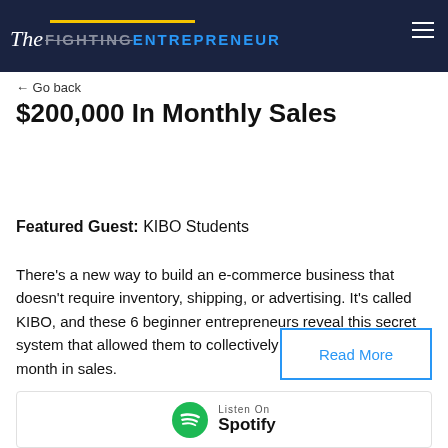The Fighting Entrepreneur
← Go back
6 Beginner Entrepreneurs Break $200,000 In Monthly Sales
Featured Guest: KIBO Students
There's a new way to build an e-commerce business that doesn't require inventory, shipping, or advertising. It's called KIBO, and these 6 beginner entrepreneurs reveal this secret system that allowed them to collectively hit $200,000 per month in sales.
Read More
[Figure (logo): Spotify listen on badge at bottom of page]